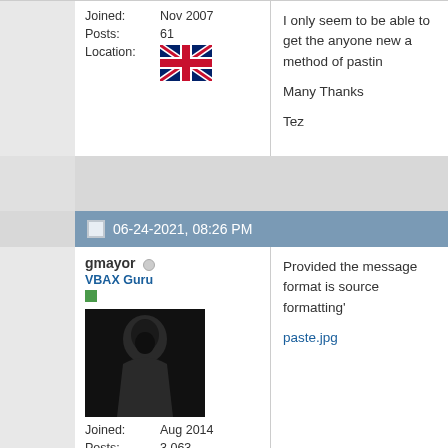Joined: Nov 2007
Posts: 61
Location: [UK flag]
I only seem to be able to get the anyone new a method of pastin

Many Thanks

Tez
06-24-2021, 08:26 PM
gmayor
VBAX Guru
Joined: Aug 2014
Posts: 3,063
Location: [Cyprus flag]
Provided the message format is source formatting'

paste.jpg
Graham Mayor - MS MVP (Wor Visit my web site for more progr processes
http://www.gmayor.com